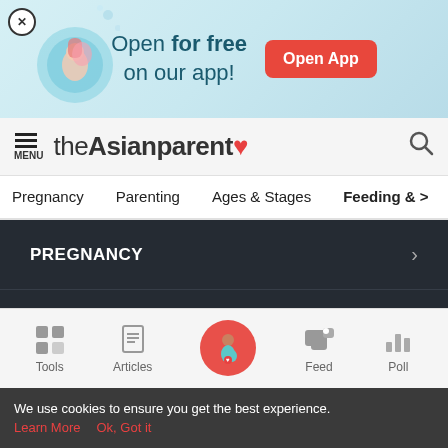[Figure (screenshot): App promotional banner with light blue background showing pregnant woman illustration, text 'Open for free on our app!' and red 'Open App' button, with close X button]
theAsianparent — navigation bar with menu icon and search icon
Pregnancy
Parenting
Ages & Stages
Feeding & >
PREGNANCY >
FAMILY OCCASIONS >
LIFESTYLE >
NORMAL DELIVERY >
[Figure (screenshot): Bottom navigation bar with Tools, Articles, center pregnant lady circle icon, Feed, and Poll icons]
We use cookies to ensure you get the best experience.
Learn More   Ok, Got it